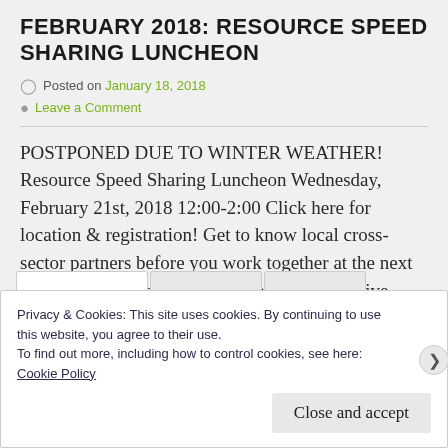FEBRUARY 2018: RESOURCE SPEED SHARING LUNCHEON
Posted on January 18, 2018
Leave a Comment
POSTPONED DUE TO WINTER WEATHER! Resource Speed Sharing Luncheon Wednesday, February 21st, 2018 12:00-2:00 Click here for location & registration! Get to know local cross-sector partners before you work together at the next disaster! The Local Area Resilience Cooperative (LARC)…
Privacy & Cookies: This site uses cookies. By continuing to use this website, you agree to their use. To find out more, including how to control cookies, see here: Cookie Policy
Close and accept